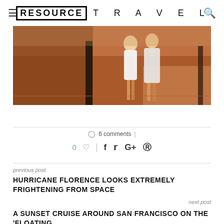RESOURCE TRAVEL
[Figure (photo): Two women in white dresses walking on a red dirt road in an arid landscape at golden hour]
6 comments
0 ♡ | f t G+ ®
previous post
HURRICANE FLORENCE LOOKS EXTREMELY FRIGHTENING FROM SPACE
next post
A SUNSET CRUISE AROUND SAN FRANCISCO ON THE 'FLOATING